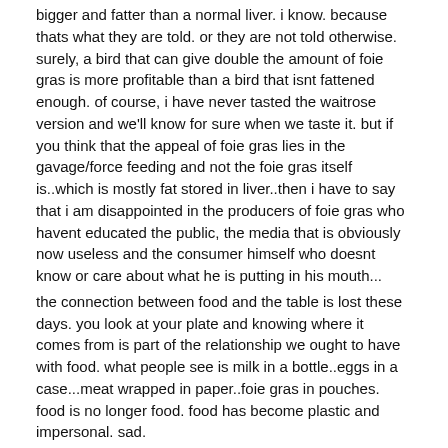bigger and fatter than a normal liver. i know. because thats what they are told. or they are not told otherwise. surely, a bird that can give double the amount of foie gras is more profitable than a bird that isnt fattened enough. of course, i have never tasted the waitrose version and we'll know for sure when we taste it. but if you think that the appeal of foie gras lies in the gavage/force feeding and not the foie gras itself is..which is mostly fat stored in liver..then i have to say that i am disappointed in the producers of foie gras who havent educated the public, the media that is obviously now useless and the consumer himself who doesnt know or care about what he is putting in his mouth...
the connection between food and the table is lost these days. you look at your plate and knowing where it comes from is part of the relationship we ought to have with food. what people see is milk in a bottle..eggs in a case...meat wrapped in paper..foie gras in pouches. food is no longer food. food has become plastic and impersonal. sad.
edited to add: re typos, its 3.57 am here. thats my excuse and i am sticking to it.
Edited October 4, 2004 by Lalitha (log)